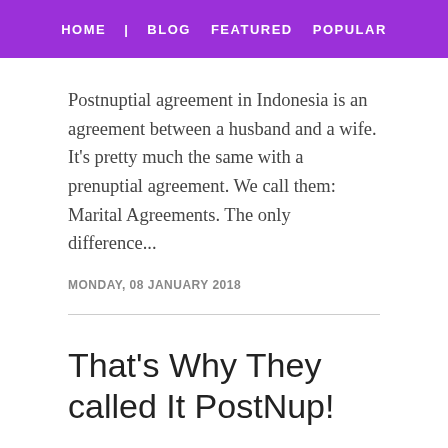HOME | BLOG FEATURED POPULAR
Postnuptial agreement in Indonesia is an agreement between a husband and a wife. It's pretty much the same with a prenuptial agreement. We call them: Marital Agreements. The only difference...
MONDAY, 08 JANUARY 2018
That's Why They called It PostNup!